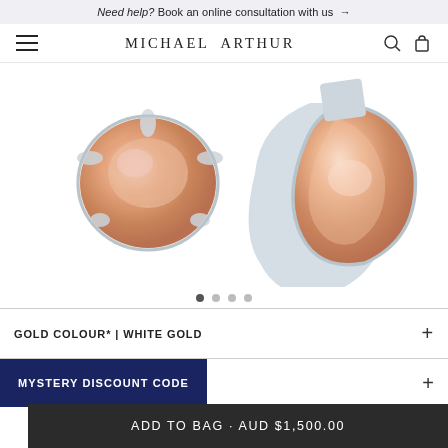Need help? Book an online consultation with us →
MICHAEL ARTHUR
[Figure (photo): Two morganite gemstone earrings in white gold settings — a pear-cut stone and a round-cut stone, both peach/pink colored, photographed on white background]
GOLD COLOUR* | WHITE GOLD
MYSTERY DISCOUNT CODE
ADD TO BAG · AUD $1,500.00